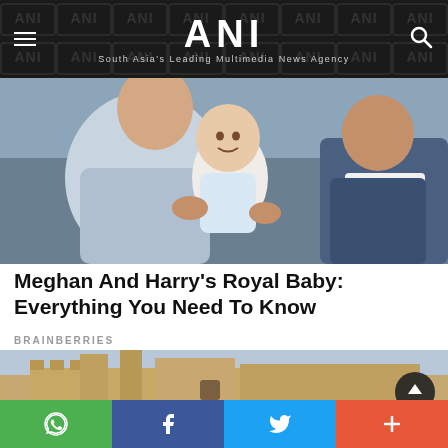ANI — South Asia's Leading Multimedia News Agency
[Figure (photo): A woman holding a smiling baby while a man in a suit looks on, sitting on a grey sofa.]
Meghan And Harry's Royal Baby: Everything You Need To Know
BRAINBERRIES
[Figure (photo): A large medieval castle with towers and battlements under a cloudy sky.]
Social sharing bar: WhatsApp, Facebook, Twitter, More